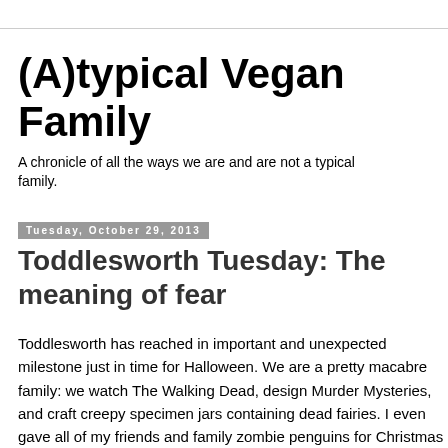(A)typical Vegan Family
A chronicle of all the ways we are and are not a typical family.
Tuesday, October 29, 2013
Toddlesworth Tuesday: The meaning of fear
Toddlesworth has reached in important and unexpected milestone just in time for Halloween. We are a pretty macabre family: we watch The Walking Dead, design Murder Mysteries, and craft creepy specimen jars containing dead fairies. I even gave all of my friends and family zombie penguins for Christmas one year. It is not surprising then, that Toddlesworth has seen his share of scary things. But